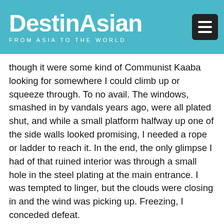DestinAsian — FROM ASIA TO THE WORLD
though it were some kind of Communist Kaaba looking for somewhere I could climb up or squeeze through. To no avail. The windows, smashed in by vandals years ago, were all plated shut, and while a small platform halfway up one of the side walls looked promising, I needed a rope or ladder to reach it. In the end, the only glimpse I had of that ruined interior was through a small hole in the steel plating at the main entrance. I was tempted to linger, but the clouds were closing in and the wind was picking up. Freezing, I conceded defeat.
As we drove away, my disappointment was mitigated by the fact that while I hadn't managed to get inside, there had been something about the whole experience—Dimitr's gung-ho approach, the trouble we had getting there, knowing that what we were doing was probably mildly illegal—that recalled the freewheeling sense of freedom I remember from my first years in Lebanon, where I've lived